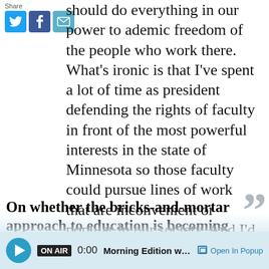[Figure (infographic): Share icons: Twitter (blue bird), Facebook (blue f), Email (teal envelope)]
should do everything in our power to ademic freedom of the people who work there. What's ironic is that I've spent a lot of time as president defending the rights of faculty in front of the most powerful interests in the state of Minnesota so those faculty could pursue lines of work that are inconvenient or popular in our society. And I'd do it again. I wish the whole thing had been handled better, I regret it and am embarrassed by it. I've asked people to look at the procedures to see that this doesn't happen again.
On whether the bricks-and-mortar approach to education is becoming antiquated in the age of online learning:
[Figure (infographic): Audio player bar: play button, ON AIR badge, time 0:00, Morning Edition with Cathy W, Open In Popup]